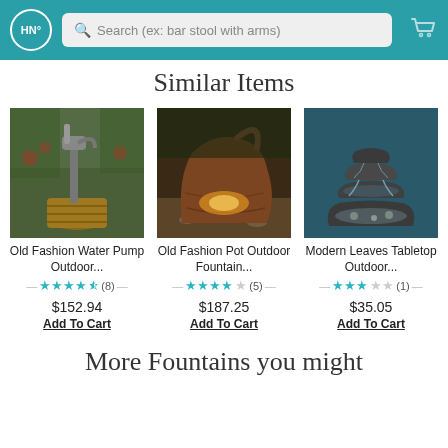HN° Search (ex: bar stool with arms)
Similar Items
[Figure (photo): Old Fashion Water Pump Outdoor fountain with wooden barrel base in garden setting with fruit trees]
Old Fashion Water Pump Outdoor...
★★★★½ (8)
$152.94
Add To Cart
[Figure (photo): Old Fashion Pot Outdoor Fountain - rustic brown clay pot fountain with glowing amber light]
Old Fashion Pot Outdoor Fountain...
★★★★☆ (5)
$187.25
Add To Cart
[Figure (photo): Modern Leaves Tabletop Outdoor fountain - dark modern tiered leaf-shaped fountain with blue background]
Modern Leaves Tabletop Outdoor...
★★★☆☆ (1)
$35.05
Add To Cart
More Fountains you might